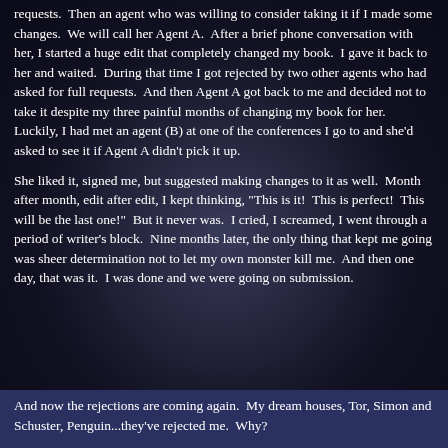requests. Then an agent who was willing to consider taking it if I made some changes. We will call her Agent A. After a brief phone conversation with her, I started a huge edit that completely changed my book. I gave it back to her and waited. During that time I got rejected by two other agents who had asked for full requests. And then Agent A got back to me and decided not to take it despite my three painful months of changing my book for her. Luckily, I had met an agent (B) at one of the conferences I go to and she'd asked to see it if Agent A didn't pick it up.
She liked it, signed me, but suggested making changes to it as well. Month after month, edit after edit, I kept thinking, "This is it! This is perfect! This will be the last one!" But it never was. I cried, I screamed, I went through a period of writer's block. Nine months later, the only thing that kept me going was sheer determination not to let my own monster kill me. And then one day, that was it. I was done and we were going on submission.
And now the rejections are coming again. My dream houses, Tor, Simon and Schuster, Penguin...they've rejected me. Why?